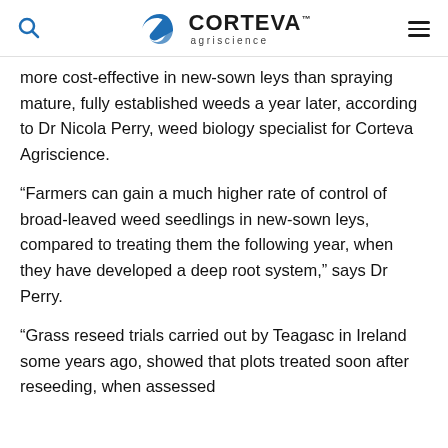Corteva Agriscience
more cost-effective in new-sown leys than spraying mature, fully established weeds a year later, according to Dr Nicola Perry, weed biology specialist for Corteva Agriscience.
“Farmers can gain a much higher rate of control of broad-leaved weed seedlings in new-sown leys, compared to treating them the following year, when they have developed a deep root system,” says Dr Perry.
“Grass reseed trials carried out by Teagasc in Ireland some years ago, showed that plots treated soon after reseeding, when assessed